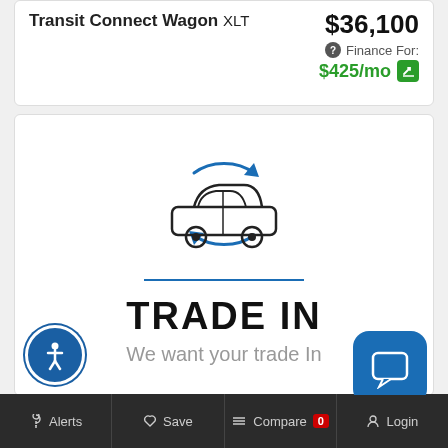Transit Connect Wagon XLT
$36,100
Finance For: $425/mo
[Figure (illustration): Trade-in icon: car silhouette with circular blue arrows indicating trade/exchange, followed by a blue horizontal divider line, bold text TRADE IN, and gray subtext We want your trade In]
Alerts  Save  Compare 0  Login